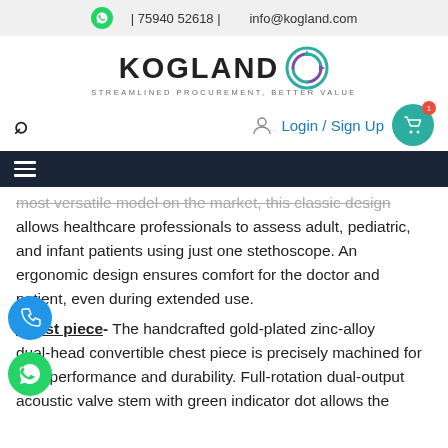| 75940 52618 |   info@kogland.com
[Figure (logo): Kogland logo with circular arrows icon and tagline 'STREAMLINED PROCUREMENT, BETTER VALUE']
Login / Sign Up
most versatile model on the market, this classic design allows healthcare professionals to assess adult, pediatric, and infant patients using just one stethoscope. An ergonomic design ensures comfort for the doctor and patient, even during extended use.
Chest piece- The handcrafted gold-plated zinc-alloy dual-head convertible chest piece is precisely machined for high performance and durability. Full-rotation dual-output acoustic valve stem with green indicator dot allows the